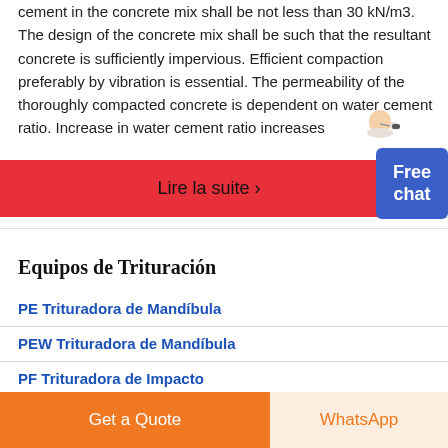cement in the concrete mix shall be not less than 30 kN/m3. The design of the concrete mix shall be such that the resultant concrete is sufficiently impervious. Efficient compaction preferably by vibration is essential. The permeability of the thoroughly compacted concrete is dependent on water cement ratio. Increase in water cement ratio increases
Lire la suite ›
[Figure (illustration): Person with headset (customer support agent)]
Free chat
Equipos de Trituración
PE Trituradora de Mandíbula
PEW Trituradora de Mandíbula
PF Trituradora de Impacto
Get a Quote
WhatsApp